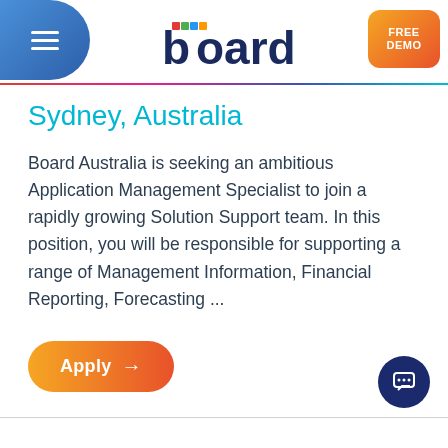[Figure (logo): Board software company logo with colorful 'b' icon and dark navy 'board' text]
Sydney, Australia
Board Australia is seeking an ambitious Application Management Specialist to join a rapidly growing Solution Support team. In this position, you will be responsible for supporting a range of Management Information, Financial Reporting, Forecasting ...
Apply →